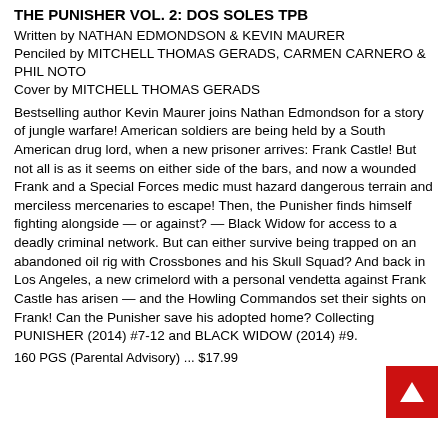THE PUNISHER VOL. 2: DOS SOLES TPB
Written by NATHAN EDMONDSON & KEVIN MAURER
Penciled by MITCHELL THOMAS GERADS, CARMEN CARNERO & PHIL NOTO
Cover by MITCHELL THOMAS GERADS
Bestselling author Kevin Maurer joins Nathan Edmondson for a story of jungle warfare! American soldiers are being held by a South American drug lord, when a new prisoner arrives: Frank Castle! But not all is as it seems on either side of the bars, and now a wounded Frank and a Special Forces medic must hazard dangerous terrain and merciless mercenaries to escape! Then, the Punisher finds himself fighting alongside — or against? — Black Widow for access to a deadly criminal network. But can either survive being trapped on an abandoned oil rig with Crossbones and his Skull Squad? And back in Los Angeles, a new crimelord with a personal vendetta against Frank Castle has arisen — and the Howling Commandos set their sights on Frank! Can the Punisher save his adopted home? Collecting PUNISHER (2014) #7-12 and BLACK WIDOW (2014) #9.
160 PGS (Parental Advisory) ... $17.99